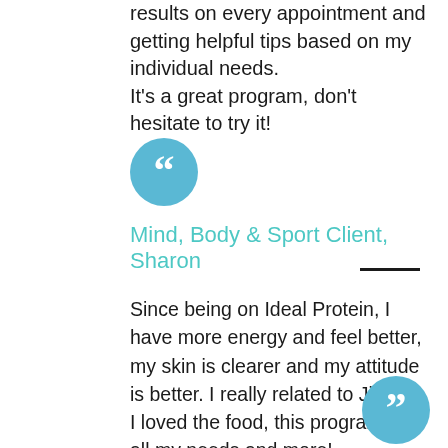results on every appointment and getting helpful tips based on my individual needs. It's a great program, don't hesitate to try it!
[Figure (illustration): Blue circle with a white opening quotation mark inside]
Mind, Body & Sport Client, Sharon
Since being on Ideal Protein, I have more energy and feel better, my skin is clearer and my attitude is better. I really related to Jill and I loved the food, this program met all my needs and more!
[Figure (illustration): Blue circle with a white closing quotation mark inside, partially visible at bottom right]